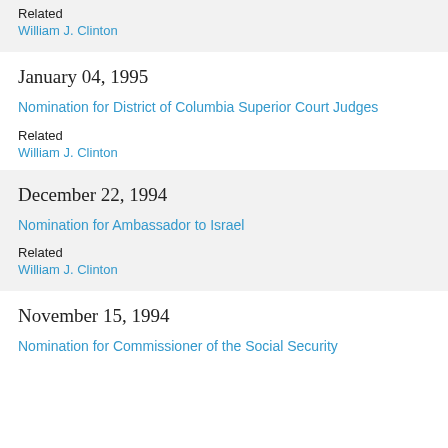Related
William J. Clinton
January 04, 1995
Nomination for District of Columbia Superior Court Judges
Related
William J. Clinton
December 22, 1994
Nomination for Ambassador to Israel
Related
William J. Clinton
November 15, 1994
Nomination for Commissioner of the Social Security